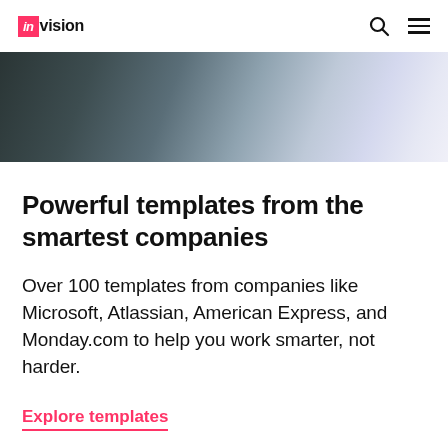in vision
[Figure (photo): Abstract blurred image with dark teal on left fading to light purple/blue on right, serving as a hero banner image]
Powerful templates from the smartest companies
Over 100 templates from companies like Microsoft, Atlassian, American Express, and Monday.com to help you work smarter, not harder.
Explore templates